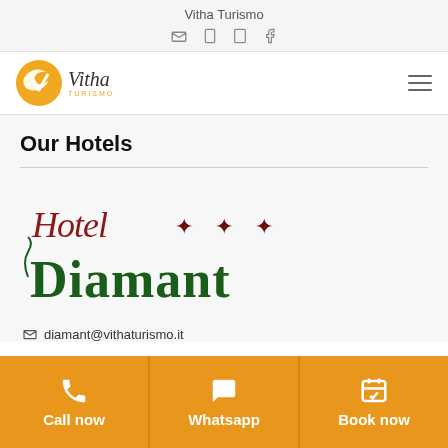Vitha Turismo
[Figure (logo): Vitha Turismo logo with orange circle and stylized V icon, with italic brand name and TURISMO subtitle]
Our Hotels
[Figure (logo): Hotel Diamant logo in gothic/script style with dark red stars and green gothic lettering]
diamant@vithaturismo.it
Call now
Whatsapp
Book now